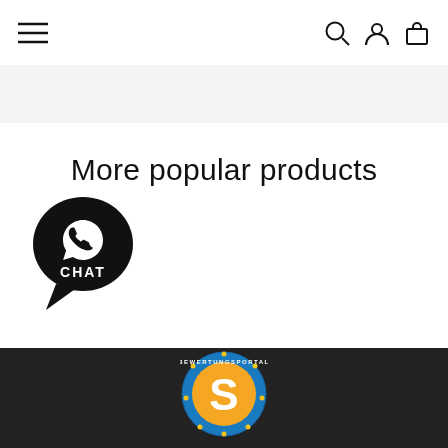[Figure (screenshot): Navigation bar with hamburger menu icon on the left and search, account, and shopping bag icons on the right]
More popular products
[Figure (logo): WhatsApp Chat bubble icon in black with CHAT text and WhatsApp logo inside]
[Figure (logo): Bewertungsportal badge with orange S letter and blue circular border with star accents]